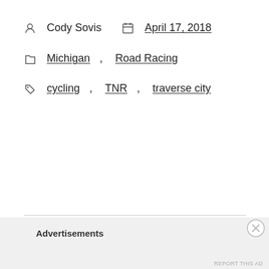Cody Sovis   April 17, 2018
Michigan, Road Racing
cycling, TNR, traverse city
Advertisements